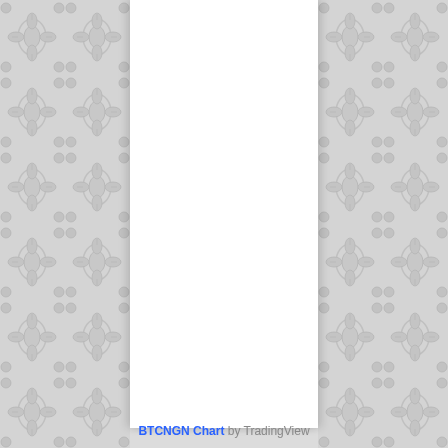[Figure (other): Decorative damask pattern background on left and right margins with white center panel — a blank TradingView chart embed placeholder for BTCNGN]
BTCNGN Chart by TradingView